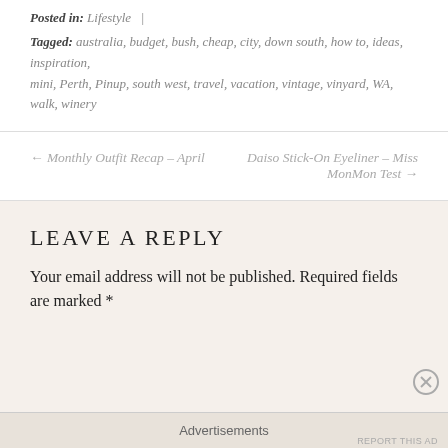Posted in: Lifestyle |
Tagged: australia, budget, bush, cheap, city, down south, how to, ideas, inspiration, mini, Perth, Pinup, south west, travel, vacation, vintage, vinyard, WA, walk, winery
← Monthly Outfit Recap – April
Daiso Stick-On Eyeliner – Miss MonMon Test →
LEAVE A REPLY
Your email address will not be published. Required fields are marked *
Advertisements